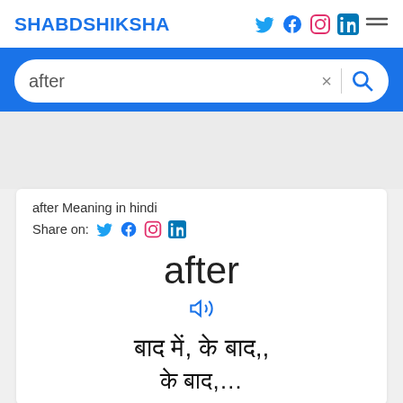SHABDSHIKSHA
after
after Meaning in hindi
Share on:
after
🔊
बाद में, के बाद,,